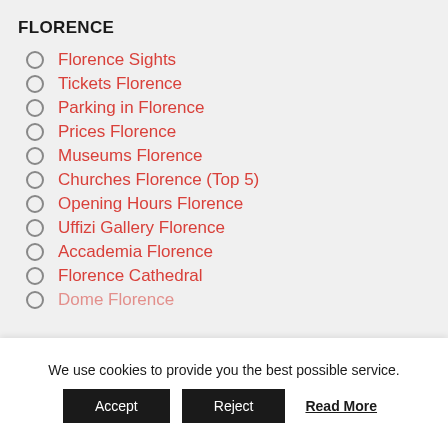FLORENCE
Florence Sights
Tickets Florence
Parking in Florence
Prices Florence
Museums Florence
Churches Florence (Top 5)
Opening Hours Florence
Uffizi Gallery Florence
Accademia Florence
Florence Cathedral
Dome Florence
We use cookies to provide you the best possible service.
Accept  Reject  Read More